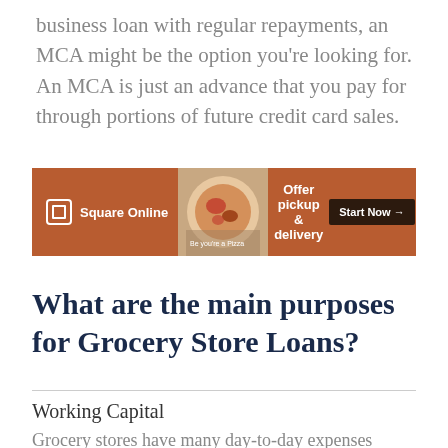business loan with regular repayments, an MCA might be the option you're looking for. An MCA is just an advance that you pay for through portions of future credit card sales.
[Figure (screenshot): Square Online advertisement banner with orange/brown background, food image, text 'Offer pickup & delivery', and 'Start Now' button]
What are the main purposes for Grocery Store Loans?
Working Capital
Grocery stores have many day-to-day expenses